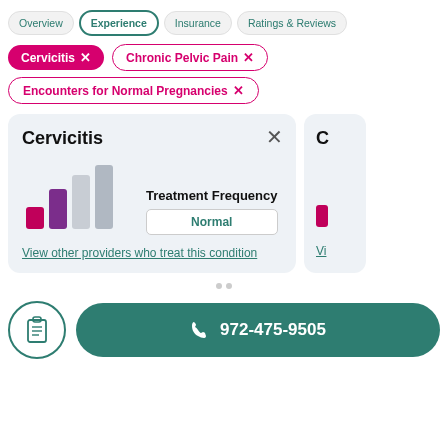Overview | Experience | Insurance | Ratings & Reviews
Cervicitis X
Chronic Pelvic Pain X
Encounters for Normal Pregnancies X
Cervicitis
[Figure (bar-chart): Small bar chart showing treatment frequency with pink and grey bars]
Normal
View other providers who treat this condition
972-475-9505